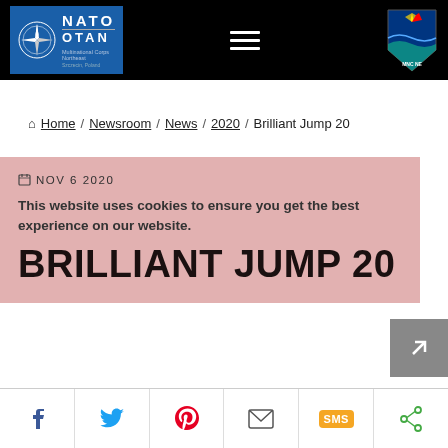NATO OTAN - Multinational Corps Northeast
Home / Newsroom / News / 2020 / Brilliant Jump 20
NOV 6 2020
This website uses cookies to ensure you get the best experience on our website.
BRILLIANT JUMP 20
Social share: Facebook, Twitter, Pinterest, Email, SMS, Share